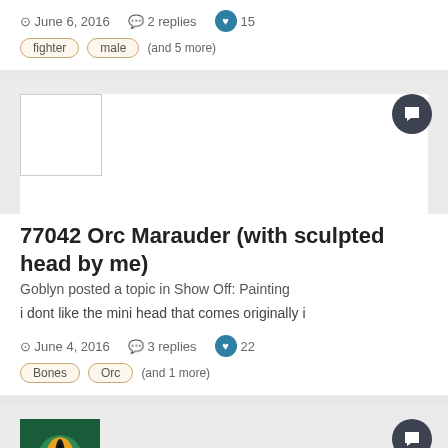June 6, 2016   2 replies   15
fighter   male   (and 5 more)
[Figure (photo): White/blank square avatar placeholder]
77042 Orc Marauder (with sculpted head by me)
Goblyn posted a topic in Show Off: Painting
i dont like the mini head that comes originally i
June 4, 2016   3 replies   22
Bones   Orc   (and 1 more)
[Figure (photo): Square avatar image showing a green dragon eye on dark background with the number 81]
Lidless Eye Hobbies puts on some Sensible Shoes
Lidless Eye posted a topic in Show Off: Painting